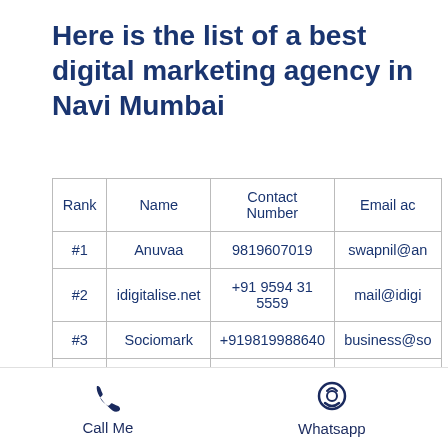Here is the list of a best digital marketing agency in Navi Mumbai
| Rank | Name | Contact Number | Email ac |
| --- | --- | --- | --- |
| #1 | Anuvaa | 9819607019 | swapnil@an |
| #2 | idigitalise.net | +91 9594 31 5559 | mail@idigi |
| #3 | Sociomark | +919819988640 | business@so |
Call Me   Whatsapp